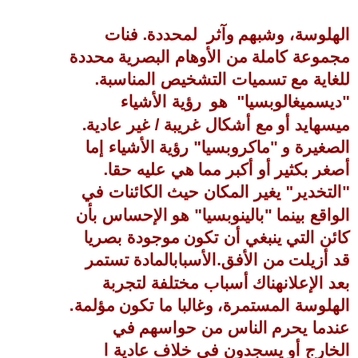الهلوسة، وشبهم وآثر لمحددة. فنات مجموعة كاملة من الأوهام البصرية محددة للغاية مع تسميات التشخيص المناسبة. "ديسميغالوبسيا" هو رؤية الأشياء ميسهايد أو مع أشكال غريبة / غير عادية. الصغيرة و "ماكروبسيا" رؤية الأشياء إما أصغر بكثير أو أكبر مما هي عليه حقا. "التخدير" يغير المكان حيث الكائنات في الواقع بينما "بالينوبسيا" هو الإحساس بأن كائن التي ينبغي أن تكون موجودة بصريا قد أزيلت من الأفق.الأسبابالمادة تستمر بعد الإعلانهناك أسباب مختلفة لتجربة الهلوسة المستمرة، وغالبا ما تكون مؤلمة. عندما يحرم الناس من حواسهم في الخارج أو يسجدون في خلاف عادية ا